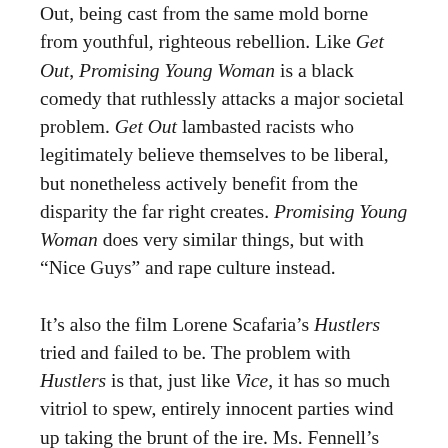Out, being cast from the same mold borne from youthful, righteous rebellion. Like Get Out, Promising Young Woman is a black comedy that ruthlessly attacks a major societal problem. Get Out lambasted racists who legitimately believe themselves to be liberal, but nonetheless actively benefit from the disparity the far right creates. Promising Young Woman does very similar things, but with “Nice Guys” and rape culture instead.
It’s also the film Lorene Scafaria’s Hustlers tried and failed to be. The problem with Hustlers is that, just like Vice, it has so much vitriol to spew, entirely innocent parties wind up taking the brunt of the ire. Ms. Fennell’s film doesn’t make the same mistake, which is ironic because it arguably has fewer sympathetic male characters. Nonetheless, it is not a sexist film as much as it is laser focused on a very real problem. Part of what